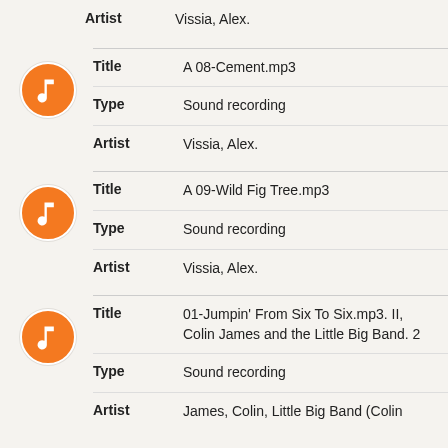Artist: Vissia, Alex.
| Field | Value |
| --- | --- |
| Title | A 08-Cement.mp3 |
| Type | Sound recording |
| Artist | Vissia, Alex. |
| Field | Value |
| --- | --- |
| Title | A 09-Wild Fig Tree.mp3 |
| Type | Sound recording |
| Artist | Vissia, Alex. |
| Field | Value |
| --- | --- |
| Title | 01-Jumpin' From Six To Six.mp3. II, Colin James and the Little Big Band. 2 |
| Type | Sound recording |
| Artist | James, Colin, Little Big Band (Colin |